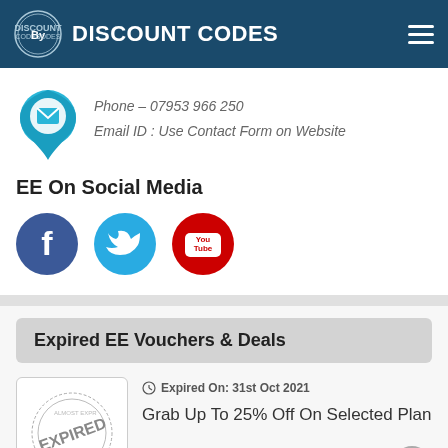DISCOUNT CODES
Phone – 07953 966 250
Email ID : Use Contact Form on Website
EE On Social Media
[Figure (illustration): Social media icons: Facebook, Twitter, YouTube]
Expired EE Vouchers & Deals
Expired On: 31st Oct 2021
Grab Up To 25% Off On Selected Plan